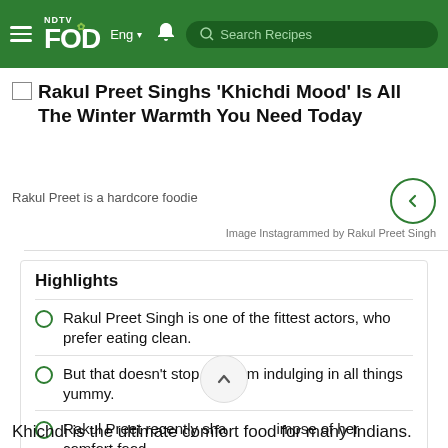NDTV Food — Search Recipes
Rakul Preet Singhs 'Khichdi Mood' Is All The Winter Warmth You Need Today
Rakul Preet is a hardcore foodie
Image Instagrammed by Rakul Preet Singh
Highlights
Rakul Preet Singh is one of the fittest actors, who prefer eating clean.
But that doesn't stop her from indulging in all things yummy.
Rakul Preet recently shared a glimpse of her comfort food.
Khichdi is the ultimate comfort food for many Indians.